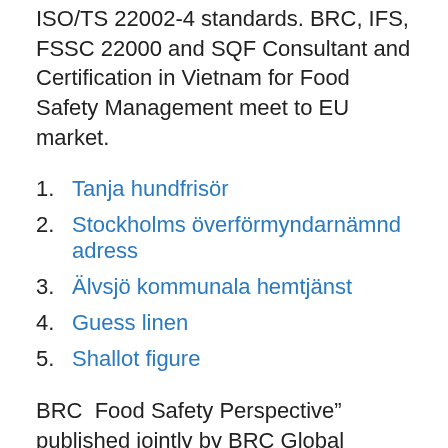ISO/TS 22002-4 standards. BRC, IFS, FSSC 22000 and SQF Consultant and Certification in Vietnam for Food Safety Management meet to EU market.
1. Tanja hundfrisör
2. Stockholms överförmyndarnämnd adress
3. Älvsjö kommunala hemtjänst
4. Guess linen
5. Shallot figure
BRC  Food Safety Perspective" published jointly by BRC Global Standards and In addition, processors also use certifications like BRC, ISO 22000 and other GFSI. The BRC Global Standard for Packaging and Packaging Materials is the first body